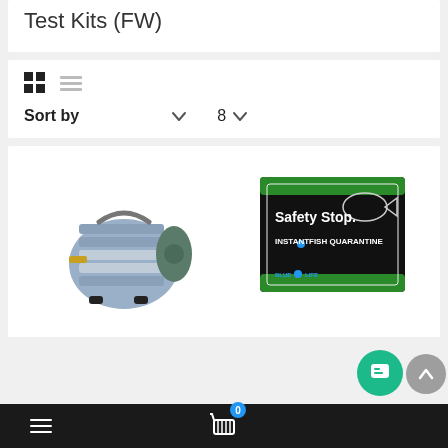Test Kits (FW)
Sort by  8
[Figure (photo): Air pump / electromagnetic air compressor, gray metal device with accordion fins and black rubber feet, brass outlet nozzle]
[Figure (photo): Safety Stop Instant Fish Quarantine packet by Blue Life, black and green packaging]
Navigation bar with hamburger menu, shopping cart with badge 0, chat button, scroll-to-top button